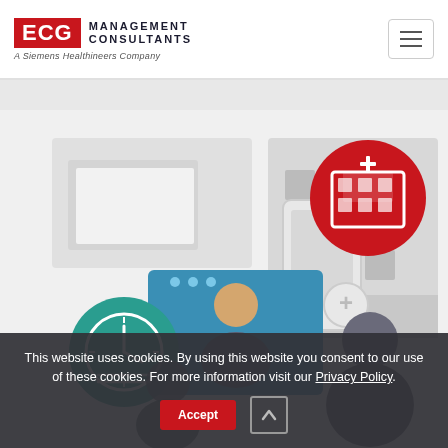ECG Management Consultants — A Siemens Healthineers Company
[Figure (illustration): Healthcare illustration with teal clock icon, blue video call interface showing a person, gray silhouette of a woman, red hospital/building icon, and a smartphone with a plus/medical icon on a light gray background.]
This website uses cookies. By using this website you consent to our use of these cookies. For more information visit our Privacy Policy.
Accept